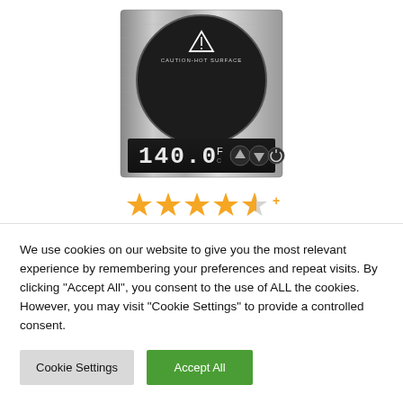[Figure (photo): An induction cooktop with a black circular cooking surface, brushed stainless steel body, and a digital display showing 140.0°F with control buttons.]
[Figure (other): Star rating showing 4.5 out of 5 stars in orange/gold color with a plus sign.]
We use cookies on our website to give you the most relevant experience by remembering your preferences and repeat visits. By clicking "Accept All", you consent to the use of ALL the cookies. However, you may visit "Cookie Settings" to provide a controlled consent.
Cookie Settings | Accept All